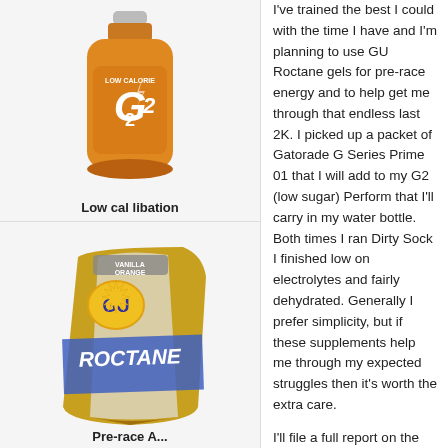[Figure (photo): Orange Gatorade G2 bottle (low calorie/low sugar sports drink)]
Low cal libation
[Figure (photo): GU Roctane energy gel packet in gold/white, Vanilla Orange flavor]
Pre-race A...
I've trained the best I could with the time I have and I'm planning to use GU Roctane gels for pre-race energy and to help get me through that endless last 2K. I picked up a packet of Gatorade G Series Prime 01 that I will add to my G2 (low sugar) Perform that I'll carry in my water bottle. Both times I ran Dirty Sock I finished low on electrolytes and fairly dehydrated. Generally I prefer simplicity, but if these supplements help me through my expected struggles then it's worth the extra care.
I'll file a full report on the experience. My taper is